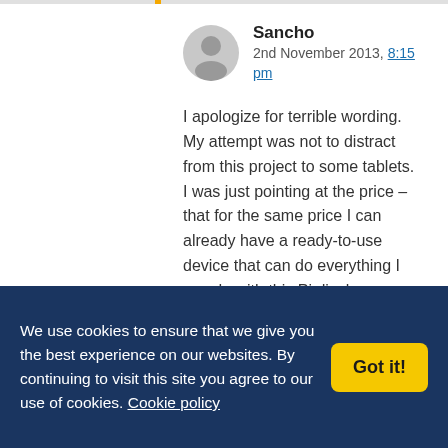Sancho
2nd November 2013, 8:15 pm
I apologize for terrible wording. My attempt was not to distract from this project to some tablets. I was just pointing at the price – that for the same price I can already have a ready-to-use device that can do everything I can do with this Pi display. Therefore the price seems incorrect to me
We use cookies to ensure that we give you the best experience on our websites. By continuing to visit this site you agree to our use of cookies. Cookie policy